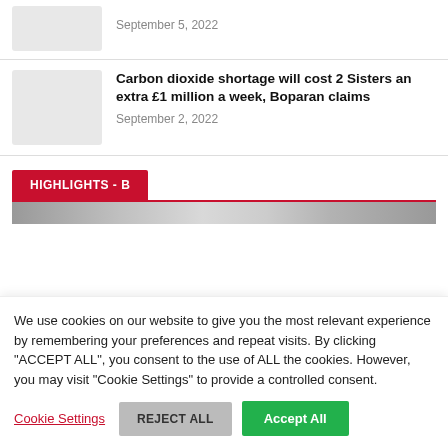September 5, 2022
Carbon dioxide shortage will cost 2 Sisters an extra £1 million a week, Boparan claims
September 2, 2022
HIGHLIGHTS - B
[Figure (photo): Partially visible image strip below HIGHLIGHTS - B section header]
We use cookies on our website to give you the most relevant experience by remembering your preferences and repeat visits. By clicking "ACCEPT ALL", you consent to the use of ALL the cookies. However, you may visit "Cookie Settings" to provide a controlled consent.
Cookie Settings  REJECT ALL  Accept All